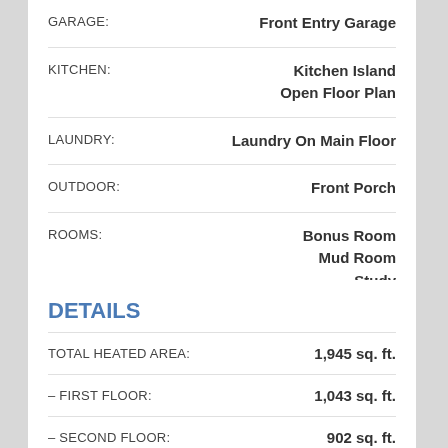| Feature | Value |
| --- | --- |
| GARAGE: | Front Entry Garage |
| KITCHEN: | Kitchen Island
Open Floor Plan |
| LAUNDRY: | Laundry On Main Floor |
| OUTDOOR: | Front Porch |
| ROOMS: | Bonus Room
Mud Room
Study |
DETAILS
| Detail | Value |
| --- | --- |
| TOTAL HEATED AREA: | 1,945 sq. ft. |
| – FIRST FLOOR: | 1,043 sq. ft. |
| – SECOND FLOOR: | 902 sq. ft. |